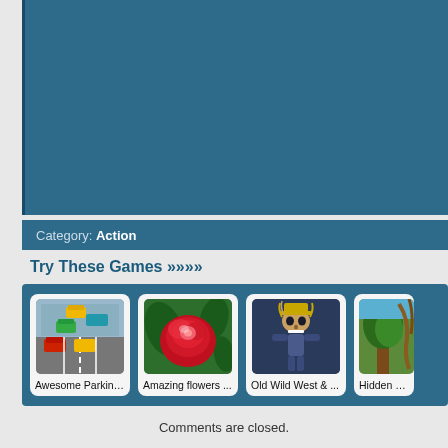[Figure (screenshot): Blue-teal colored game/content panel area at the top of the page]
Category: Action
Try These Games »»»»
[Figure (screenshot): Game thumbnail grid showing: Awesome Parking ..., Amazing flowers ..., Old Wild West & ..., Hidden Gno... (partially visible)]
Comments are closed.